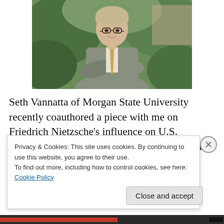[Figure (photo): Professional portrait of a man with glasses wearing a gray blazer and striped tie, arms crossed, standing outdoors in front of green foliage]
Seth Vannatta of Morgan State University recently coauthored a piece with me on Friedrich Nietzsche's influence on U.S. Supreme Court Justice Oliver Wendell Holmes Jr. The piece appeared in the fall 2016 issue
Privacy & Cookies: This site uses cookies. By continuing to use this website, you agree to their use.
To find out more, including how to control cookies, see here: Cookie Policy
Close and accept